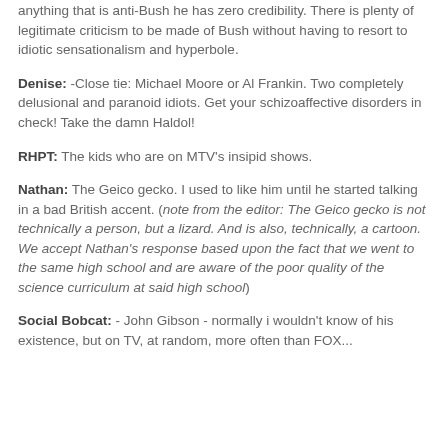like him, back when he was funny and made a little bit of an effort to see both sides of an issue, but now he is such an apologist for anything that is anti-Bush he has zero credibility. There is plenty of legitimate criticism to be made of Bush without having to resort to idiotic sensationalism and hyperbole.
Denise: -Close tie: Michael Moore or Al Frankin. Two completely delusional and paranoid idiots. Get your schizoaffective disorders in check! Take the damn Haldol!
RHPT: The kids who are on MTV's insipid shows.
Nathan: The Geico gecko. I used to like him until he started talking in a bad British accent. (note from the editor: The Geico gecko is not technically a person, but a lizard. And is also, technically, a cartoon. We accept Nathan's response based upon the fact that we went to the same high school and are aware of the poor quality of the science curriculum at said high school)
Social Bobcat: - John Gibson - normally i wouldn't know of his existence, but on TV, at random, more often than FOX...